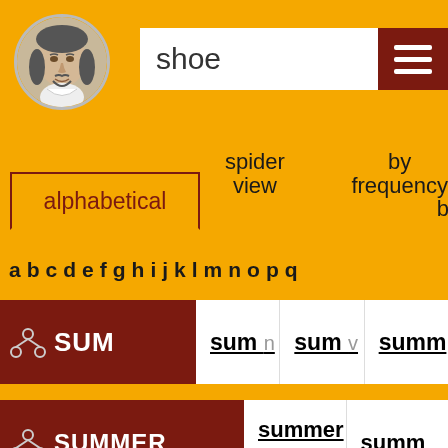[Figure (illustration): Shakespeare portrait in circular frame]
shoe
alphabetical
spider view
by frequency by
a b c d e f g h i j k l m n o p q
SUM  sum n  sum v  summ
SUMMER  summer adj  summ